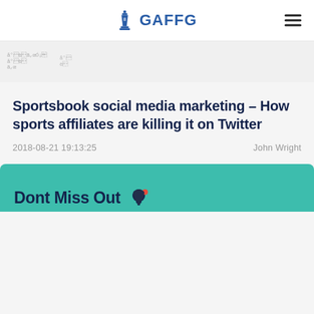GAFFG
[Figure (screenshot): Partial image strip showing faint text/scribble graphics on a light gray background]
Sportsbook social media marketing – How sports affiliates are killing it on Twitter
2018-08-21 19:13:25    John Wright
Dont Miss Out 🔔